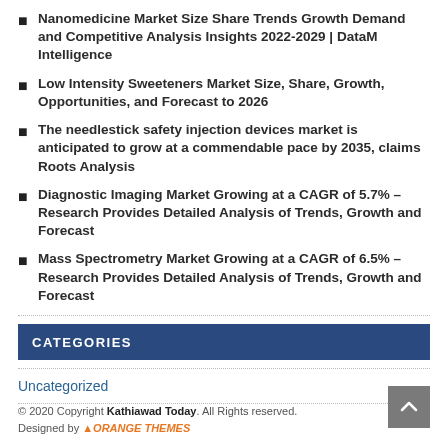Nanomedicine Market Size Share Trends Growth Demand and Competitive Analysis Insights 2022-2029 | DataM Intelligence
Low Intensity Sweeteners Market Size, Share, Growth, Opportunities, and Forecast to 2026
The needlestick safety injection devices market is anticipated to grow at a commendable pace by 2035, claims Roots Analysis
Diagnostic Imaging Market Growing at a CAGR of 5.7% – Research Provides Detailed Analysis of Trends, Growth and Forecast
Mass Spectrometry Market Growing at a CAGR of 6.5% – Research Provides Detailed Analysis of Trends, Growth and Forecast
CATEGORIES
Uncategorized
© 2020 Copyright Kathiawad Today. All Rights reserved. Designed by ORANGE THEMES